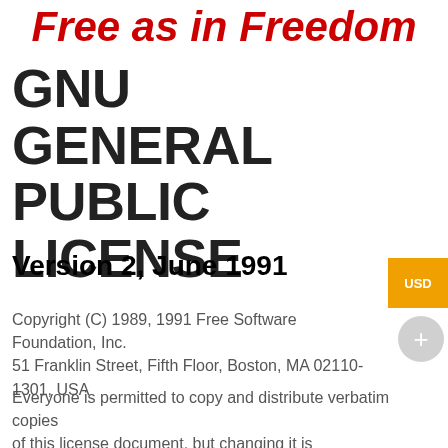Free as in Freedom
GNU GENERAL PUBLIC LICENSE
Version 2, June 1991
Copyright (C) 1989, 1991 Free Software Foundation, Inc.
51 Franklin Street, Fifth Floor, Boston, MA 02110-1301, USA
Everyone is permitted to copy and distribute verbatim copies
of this license document, but changing it is